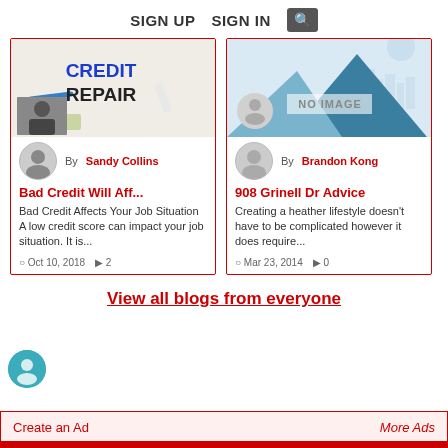SIGN UP   SIGN IN   🔍
[Figure (screenshot): Credit Repair article thumbnail with handwriting on paper]
By Sandy Collins
Bad Credit Will Aff...
Bad Credit Affects Your Job Situation A low credit score can impact your job situation. It is...
Oct 10, 2018   2
[Figure (illustration): Mountain landscape with NO IMAGE label, placeholder for article]
By Brandon Kong
908 Grinell Dr Advice
Creating a heather lifestyle doesn't have to be complicated however it does require...
Mar 23, 2014   0
View all blogs from everyone
Create an Ad
More Ads